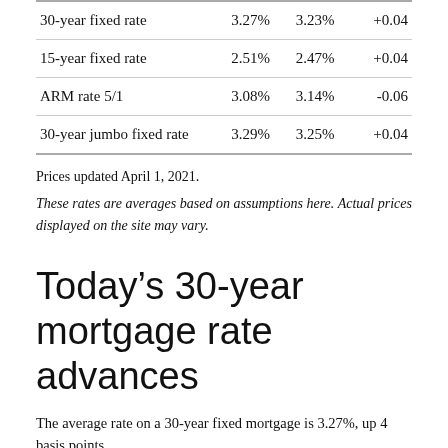|  |  |  |  |
| --- | --- | --- | --- |
| 30-year fixed rate | 3.27% | 3.23% | +0.04 |
| 15-year fixed rate | 2.51% | 2.47% | +0.04 |
| ARM rate 5/1 | 3.08% | 3.14% | -0.06 |
| 30-year jumbo fixed rate | 3.29% | 3.25% | +0.04 |
Prices updated April 1, 2021.
These rates are averages based on assumptions here. Actual prices displayed on the site may vary.
Today’s 30-year mortgage rate advances
The average rate on a 30-year fixed mortgage is 3.27%, up 4 basis points